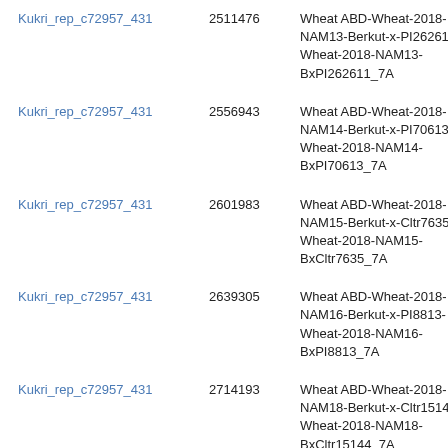| Marker | Position | Map Name | Type |
| --- | --- | --- | --- |
| Kukri_rep_c72957_431 | 2511476 | Wheat ABD-Wheat-2018-NAM13-Berkut-x-PI262611-Wheat-2018-NAM13-BxPI262611_7A | Gene |
| Kukri_rep_c72957_431 | 2556943 | Wheat ABD-Wheat-2018-NAM14-Berkut-x-PI70613-Wheat-2018-NAM14-BxPI70613_7A | Gene |
| Kukri_rep_c72957_431 | 2601983 | Wheat ABD-Wheat-2018-NAM15-Berkut-x-Cltr7635-Wheat-2018-NAM15-BxCltr7635_7A | Gene |
| Kukri_rep_c72957_431 | 2639305 | Wheat ABD-Wheat-2018-NAM16-Berkut-x-PI8813-Wheat-2018-NAM16-BxPI8813_7A | Gene |
| Kukri_rep_c72957_431 | 2714193 | Wheat ABD-Wheat-2018-NAM18-Berkut-x-Cltr15144-Wheat-2018-NAM18-BxCltr15144_7A | Gene |
| Kukri_rep_c72957_431 | 1799325 | Wheat ABD-Wheat-2018-NAM2-Berkut-x-PI572692-Wheat-2018-NAM2-BxPI572692_7A | Gene |
| Kukri_rep_c72957_431 |  | Wheat ABD-Wheat-2018-NAM20-Berkut-x-PI94567- |  |